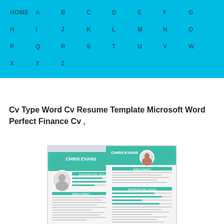HOME A B C D E F G H I J K L M N O P Q R S T U V W X Y Z
Cv Type Word Cv Resume Template Microsoft Word Perfect Finance Cv .
[Figure (photo): Preview image of a resume/CV template for Microsoft Word featuring a teal header with name 'Chris Evans', circular profile photo, and sections for Professional Skills and Employment.]